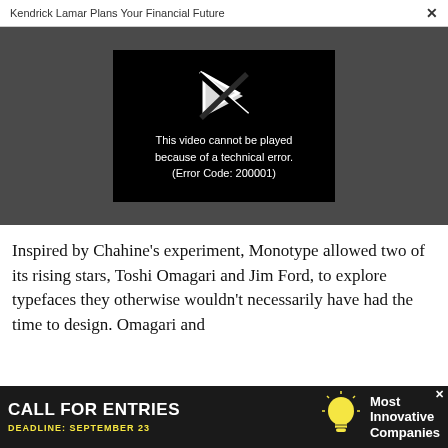Kendrick Lamar Plans Your Financial Future ×
[Figure (screenshot): Video player showing error message: 'This video cannot be played because of a technical error. (Error Code: 200001)' on black background with broken play icon, set against dark gray background]
Inspired by Chahine's experiment, Monotype allowed two of its rising stars, Toshi Omagari and Jim Ford, to explore typefaces they otherwise wouldn't necessarily have had the time to design. Omagari and
[Figure (screenshot): Advertisement banner: CALL FOR ENTRIES, DEADLINE: SEPTEMBER 23, with lightbulb icon, Most Innovative Companies]